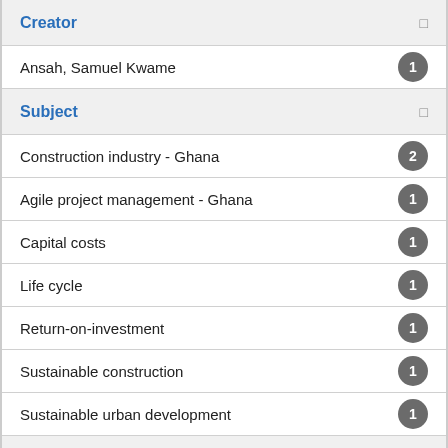Creator
Ansah, Samuel Kwame
Subject
Construction industry - Ghana
Agile project management - Ghana
Capital costs
Life cycle
Return-on-investment
Sustainable construction
Sustainable urban development
Format Type